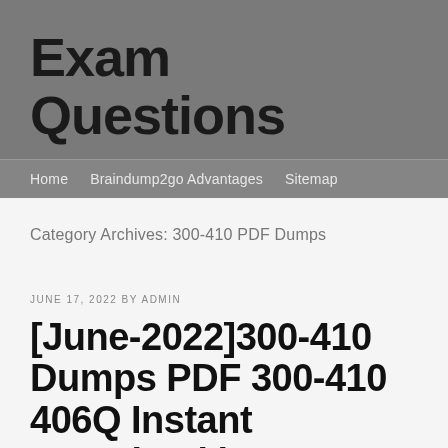Exam Questions
Home   Braindump2go Advantages   Sitemap
Category Archives: 300-410 PDF Dumps
JUNE 17, 2022 BY ADMIN
[June-2022]300-410 Dumps PDF 300-410 406Q Instant Download in Braindump2go[Q351-Q386]